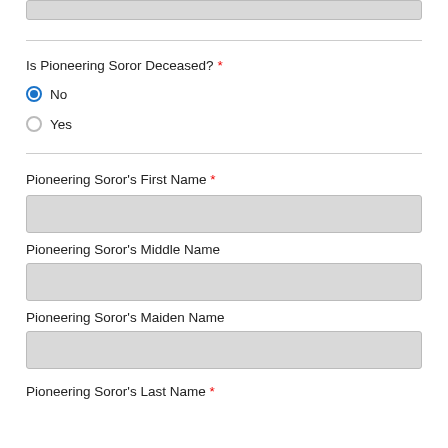Is Pioneering Soror Deceased? *
No (selected)
Yes
Pioneering Soror's First Name *
Pioneering Soror's Middle Name
Pioneering Soror's Maiden Name
Pioneering Soror's Last Name *